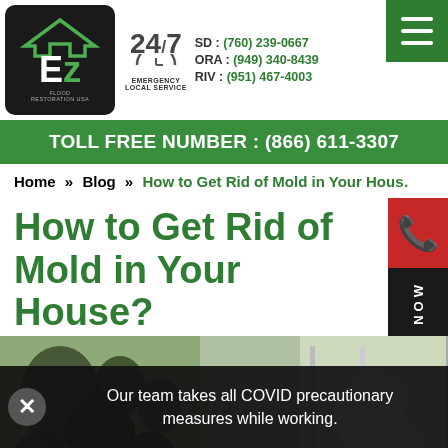EZ Flood Restoration USA | SD: (760) 239-0667 | ORA: (949) 340-8439 | RIV: (951) 467-4003 | 24/7 Emergency Local Service
TOLL FREE NUMBER : (866) 611-3307
Home » Blog » How to Get Rid of Mold in Your House?
How to Get Rid of Mold in Your House?
[Figure (photo): Close-up photo of black and green mold growing on walls and near a window frame]
Our team takes all COVID precautionary measures while working.